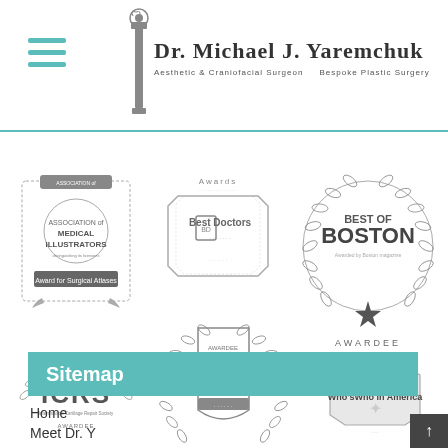Dr. Michael J. Yaremchuk — Aesthetic & Craniofacial Surgeon — Bespoke Plastic Surgery
[Figure (logo): Association of Medical Illustrators — Award for Surgical Atlases badge]
[Figure (logo): Best Doctors award badge]
[Figure (logo): Best of Boston Awardee badge]
[Figure (logo): ICRS International Cartilage Repair Society Awardee badge]
[Figure (logo): Awardee Leading Health Professionals of the World badge]
[Figure (logo): Awardee Who's Who in America badge]
Sitemap
Home
Meet Dr. Y